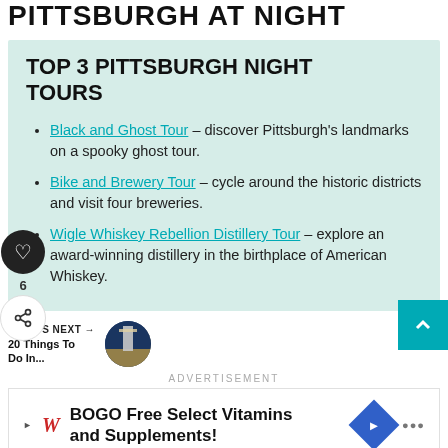PITTSBURGH AT NIGHT
TOP 3 PITTSBURGH NIGHT TOURS
Black and Ghost Tour – discover Pittsburgh's landmarks on a spooky ghost tour.
Bike and Brewery Tour – cycle around the historic districts and visit four breweries.
Wigle Whiskey Rebellion Distillery Tour – explore an award-winning distillery in the birthplace of American Whiskey.
WHAT'S NEXT → 20 Things To Do In...
ADVERTISEMENT
[Figure (infographic): Walgreens BOGO Free Select Vitamins and Supplements advertisement with navigation icon and dots logo]